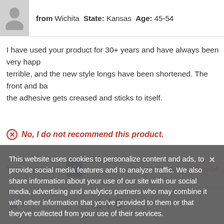from Wichita State: Kansas Age: 45-54
I have used your product for 30+ years and have always been very happy. terrible, and the new style longs have been shortened. The front and back the adhesive gets creased and sticks to itself.
No, I do not recommend this product.
Share this review:
Was this helpful? helpf
[Figure (other): Star rating showing 1 out of 5 stars]
This website uses cookies to personalize content and ads, to provide social media features and to analyze traffic. We also share information about your use of our site with our social media, advertising and analytics partners who may combine it with other information that you've provided to them or that they've collected from your use of their services.